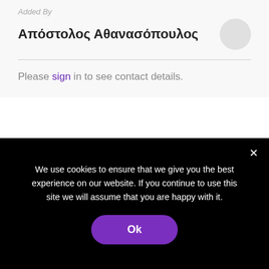Added By
Απόστολος Αθανασόπουλος
Please sign in to see contact details.
Login To Bookmark Items
We use cookies on our website to give you the most
We use cookies to ensure that we give you the best experience on our website. If you continue to use this site we will assume that you are happy with it.
Ok